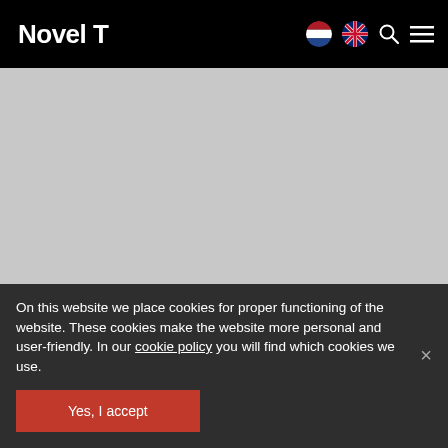Novel T
[Figure (screenshot): Gray placeholder image area below navigation header]
On this website we place cookies for proper functioning of the website. These cookies make the website more personal and user-friendly. In our cookie policy you will find which cookies we use.
Yes, I accept